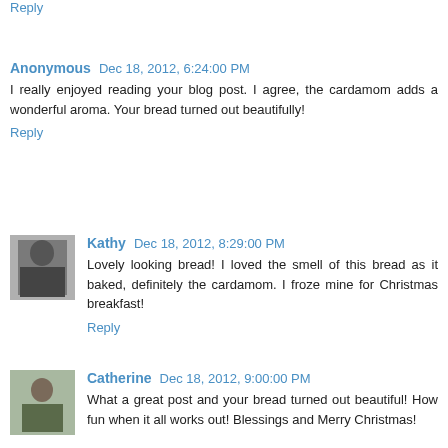Reply
Anonymous  Dec 18, 2012, 6:24:00 PM
I really enjoyed reading your blog post. I agree, the cardamom adds a wonderful aroma. Your bread turned out beautifully!
Reply
Kathy  Dec 18, 2012, 8:29:00 PM
Lovely looking bread! I loved the smell of this bread as it baked, definitely the cardamom. I froze mine for Christmas breakfast!
Reply
Catherine  Dec 18, 2012, 9:00:00 PM
What a great post and your bread turned out beautiful! How fun when it all works out! Blessings and Merry Christmas!